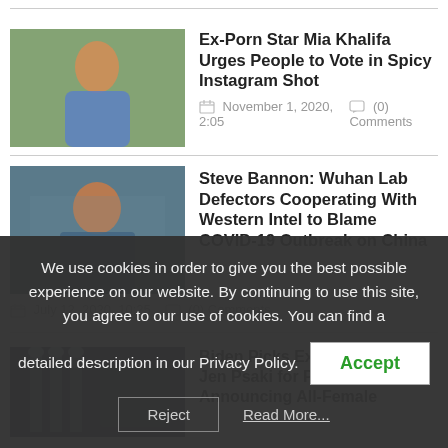[Figure (photo): Photo of a woman with long dark hair against a brick/ivy background]
Ex-Porn Star Mia Khalifa Urges People to Vote in Spicy Instagram Shot
November 1, 2020, 2:05   (0) Comments
[Figure (photo): Photo of Steve Bannon gesturing with hands]
Steve Bannon: Wuhan Lab Defectors Cooperating With Western Intel to Blame COVID-19 Outbreak on China
July 12, 2020, 10:25   (0) Comments
[Figure (photo): Photo related to Biden Press Secretary announcement with flags in background]
Biden Picks Ex-Obama Staffer Jen Psaki for Press Secretary Announcing All-Female
We use cookies in order to give you the best possible experience on our website. By continuing to use this site, you agree to our use of cookies. You can find a detailed description in our Privacy Policy.